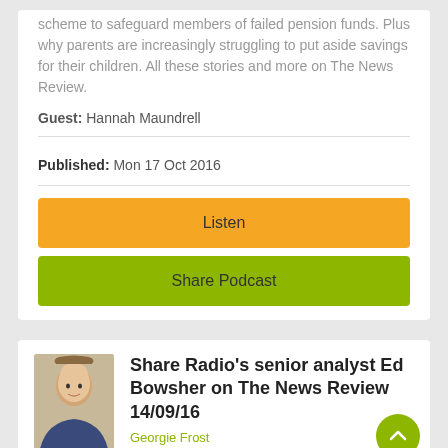scheme to safeguard members of failed pension funds. Plus why parents are increasingly struggling to put aside savings for their children. All these stories and more on The News Review.
Guest: Hannah Maundrell
Published: Mon 17 Oct 2016
Listen
Share Podcast
Share Radio's senior analyst Ed Bowsher on The News Review 14/09/16
Georgie Frost